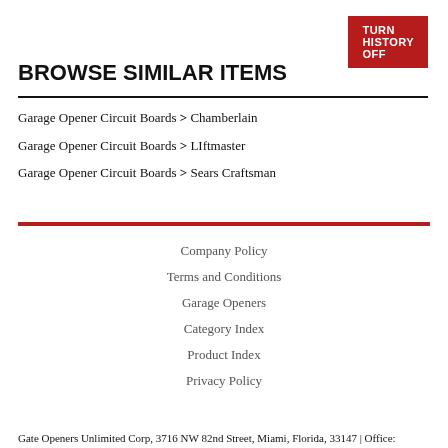[Figure (other): Red button labeled TURN HISTORY OFF]
BROWSE SIMILAR ITEMS
Garage Opener Circuit Boards > Chamberlain
Garage Opener Circuit Boards > LIftmaster
Garage Opener Circuit Boards > Sears Craftsman
Company Policy
Terms and Conditions
Garage Openers
Category Index
Product Index
Privacy Policy
Gate Openers Unlimited Corp, 3716 NW 82nd Street, Miami, Florida, 33147 | Office: